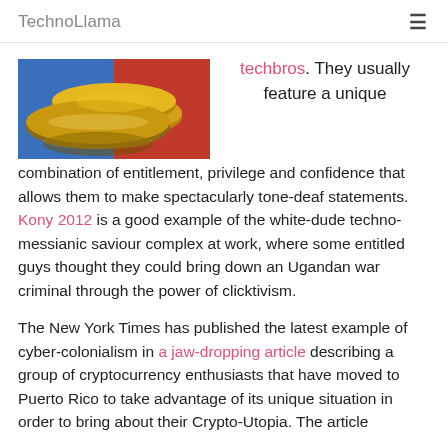TechnoLlama
[Figure (photo): Gold Bitcoin cryptocurrency coins stacked on a blue and red background]
techbros. They usually feature a unique combination of entitlement, privilege and confidence that allows them to make spectacularly tone-deaf statements. Kony 2012 is a good example of the white-dude techno-messianic saviour complex at work, where some entitled guys thought they could bring down an Ugandan war criminal through the power of clicktivism.
The New York Times has published the latest example of cyber-colonialism in a jaw-dropping article describing a group of cryptocurrency enthusiasts that have moved to Puerto Rico to take advantage of its unique situation in order to bring about their Crypto-Utopia. The article